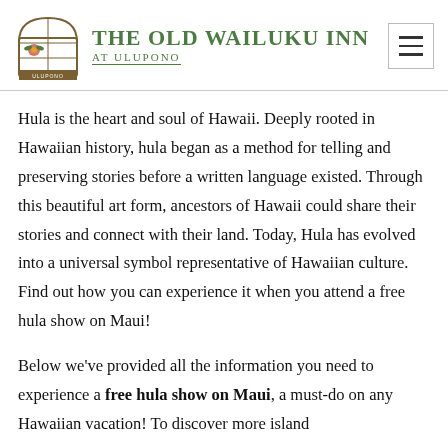[Figure (logo): The Old Wailuku Inn at Ulupono logo with arch window illustration and green text]
Hula is the heart and soul of Hawaii. Deeply rooted in Hawaiian history, hula began as a method for telling and preserving stories before a written language existed. Through this beautiful art form, ancestors of Hawaii could share their stories and connect with their land. Today, Hula has evolved into a universal symbol representative of Hawaiian culture. Find out how you can experience it when you attend a free hula show on Maui!
Below we've provided all the information you need to experience a free hula show on Maui, a must-do on any Hawaiian vacation! To discover more island